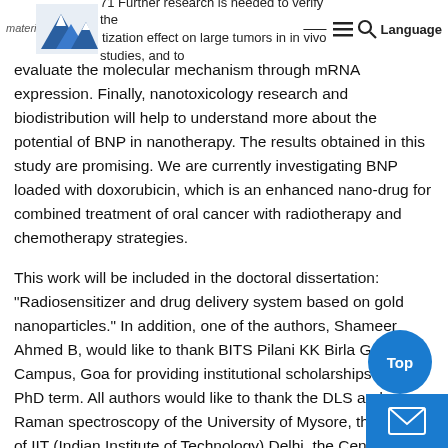materials 71 Further research is needed to verify the [logo] tization effect on large tumors in in vivo studies, and to [hamburger icon] [search icon] Language
evaluate the molecular mechanism through mRNA expression. Finally, nanotoxicology research and biodistribution will help to understand more about the potential of BNP in nanotherapy. The results obtained in this study are promising. We are currently investigating BNP loaded with doxorubicin, which is an enhanced nano-drug for combined treatment of oral cancer with radiotherapy and chemotherapy strategies.
This work will be included in the doctoral dissertation: "Radiosensitizer and drug delivery system based on gold nanoparticles." In addition, one of the authors, Shameer Ahmed B, would like to thank BITS Pilani KK Birla Goa Campus, Goa for providing institutional scholarships for his PhD term. All authors would like to thank the DLS and Raman spectroscopy of the University of Mysore, the ICPMS of IIT (Indian Institute of Technology) Delhi, the Center for Nanoscience and Engineering (CeNSE)-IISc (Indian Institute of Science), HRTEM